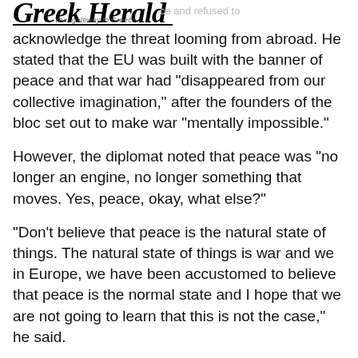Greek Herald — Your gateway to Greece
grown accustomed to peace and refused to acknowledge the threat looming from abroad. He stated that the EU was built with the banner of peace and that war had "disappeared from our collective imagination," after the founders of the bloc set out to make war "mentally impossible."
However, the diplomat noted that peace was "no longer an engine, no longer something that moves. Yes, peace, okay, what else?"
"Don't believe that peace is the natural state of things. The natural state of things is war and we in Europe, we have been accustomed to believe that peace is the normal state and I hope that we are not going to learn that this is not the case," he said.
Borrell went on to compare Europeans to "big birds that put their head inside the sand" and don't want to acknowledge there are more things happening.